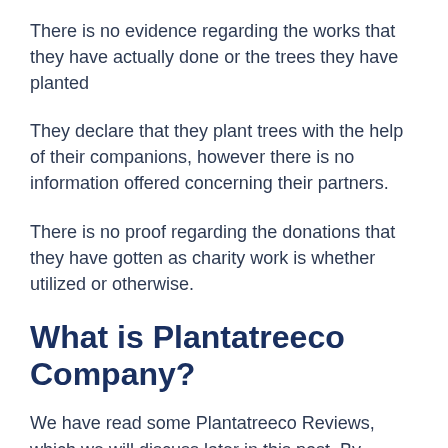There is no evidence regarding the works that they have actually done or the trees they have planted
They declare that they plant trees with the help of their companions, however there is no information offered concerning their partners.
There is no proof regarding the donations that they have gotten as charity work is whether utilized or otherwise.
What is Plantatreeco Company?
We have read some Plantatreeco Reviews, which we will discuss later in this post. By reviewing